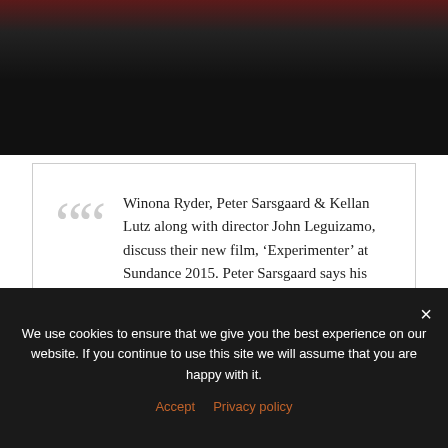[Figure (photo): Photo strip showing a person with dark hair against a dark background with a red element visible, fading to a black bar]
Winona Ryder, Peter Sarsgaard & Kellan Lutz along with director John Leguizamo, discuss their new film, 'Experimenter' at Sundance 2015. Peter Sarsgaard says his character as lived life 'one step out of this world so that he could see it.'
We use cookies to ensure that we give you the best experience on our website. If you continue to use this site we will assume that you are happy with it.
Accept   Privacy policy